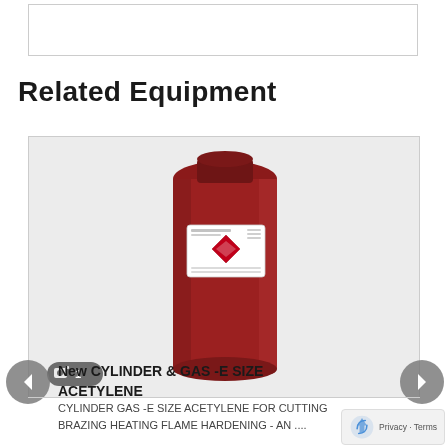Related Equipment
[Figure (photo): A tall dark red/maroon acetylene gas cylinder with a white hazard diamond label on the upper portion. The cylinder is photographed against a light background.]
New CYLINDER & GAS -E SIZE ACETYLENE
CYLINDER GAS -E SIZE ACETYLENE FOR CUTTING BRAZING HEATING FLAME HARDENING - AN ....